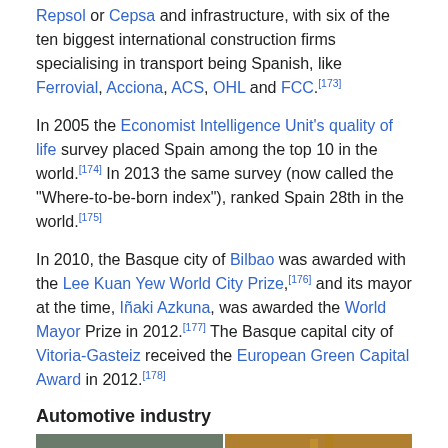Repsol or Cepsa and infrastructure, with six of the ten biggest international construction firms specialising in transport being Spanish, like Ferrovial, Acciona, ACS, OHL and FCC.[173]
In 2005 the Economist Intelligence Unit's quality of life survey placed Spain among the top 10 in the world.[174] In 2013 the same survey (now called the "Where-to-be-born index"), ranked Spain 28th in the world.[175]
In 2010, the Basque city of Bilbao was awarded with the Lee Kuan Yew World City Prize,[176] and its mayor at the time, Iñaki Azkuna, was awarded the World Mayor Prize in 2012.[177] The Basque capital city of Vitoria-Gasteiz received the European Green Capital Award in 2012.[178]
Automotive industry
[Figure (photo): Two factory/industrial interior photos side by side showing automotive manufacturing equipment and workers.]